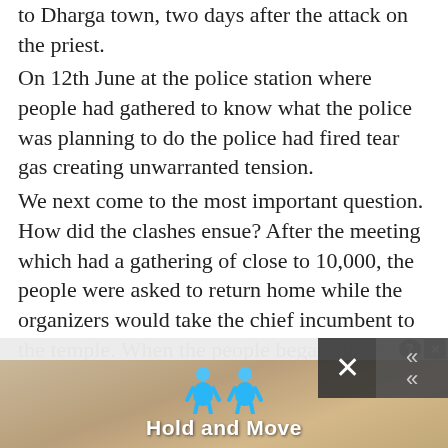to Dharga town, two days after the attack on the priest.
On 12th June at the police station where people had gathered to know what the police was planning to do the police had fired tear gas creating unwarranted tension.
We next come to the most important question. How did the clashes ensue? After the meeting which had a gathering of close to 10,000, the people were asked to return home while the organizers would take the chief incumbent to the temple. When the people began slowly walking home a single unwarranted act led to what we are told is a Sinhala-Muslim riot.
It is extremely important to note the next flurry of detail.
[Figure (screenshot): Mobile game advertisement banner showing 'Hold and Move' game with two blue cartoon figures and a wooden surface background, with close (X) and help (?) buttons, and an overlay with X close button and double-up-arrow scroll button.]